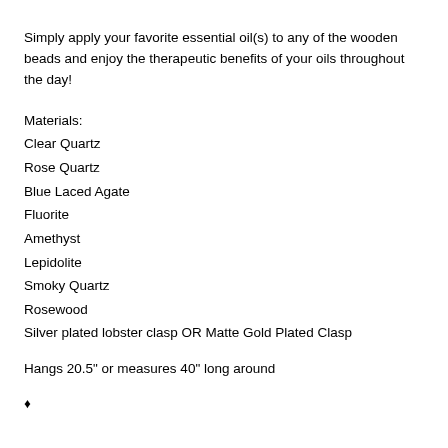Simply apply your favorite essential oil(s) to any of the wooden beads and enjoy the therapeutic benefits of your oils throughout the day!
Materials:
Clear Quartz
Rose Quartz
Blue Laced Agate
Fluorite
Amethyst
Lepidolite
Smoky Quartz
Rosewood
Silver plated lobster clasp OR Matte Gold Plated Clasp
Hangs 20.5" or measures 40" long around
♦ …